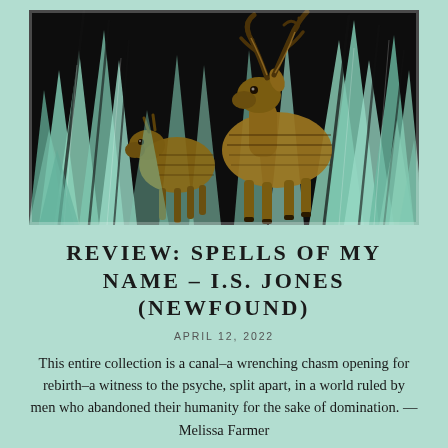[Figure (illustration): A woodcut-style illustration depicting two deer (a stag with antlers and a smaller deer) standing among tall dark foliage and mint-green plant fronds, with a dark background. Bold graphic lines in black, brown/amber, and mint green.]
REVIEW: SPELLS OF MY NAME – I.S. JONES (NEWFOUND)
APRIL 12, 2022
This entire collection is a canal–a wrenching chasm opening for rebirth–a witness to the psyche, split apart, in a world ruled by men who abandoned their humanity for the sake of domination. — Melissa Farmer